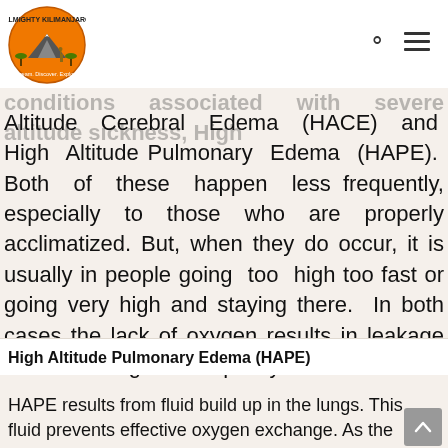Almighty Kilimanjaro — Dream. Discover. Explore.
conditions associated with severe altitude sickness, High Altitude Cerebral Edema (HACE) and High Altitude Pulmonary Edema (HAPE). Both of these happen less frequently, especially to those who are properly acclimatized. But, when they do occur, it is usually in people going too high too fast or going very high and staying there. In both cases the lack of oxygen results in leakage of fluid through the capillary walls into either the lungs or the brain
High Altitude Pulmonary Edema (HAPE)
HAPE results from fluid build up in the lungs. This fluid prevents effective oxygen exchange. As the condition becomes more severe, the level of oxygen in the bloodstream decreases,